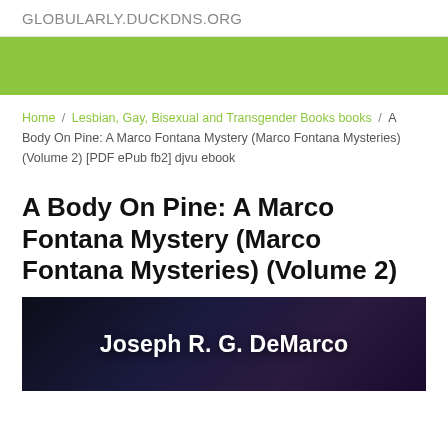GLOBULARLY.DUCKDNS.ORG
[Figure (illustration): Green banner/header bar for website]
Home / Lesbian, Gay, Bisexual and Transgender Books books / A Body On Pine: A Marco Fontana Mystery (Marco Fontana Mysteries) (Volume 2) [PDF ePub fb2] djvu ebook
A Body On Pine: A Marco Fontana Mystery (Marco Fontana Mysteries) (Volume 2)
[Figure (photo): Book cover showing dark cityscape background with author name 'Joseph R. G. DeMarco' in white bold text]